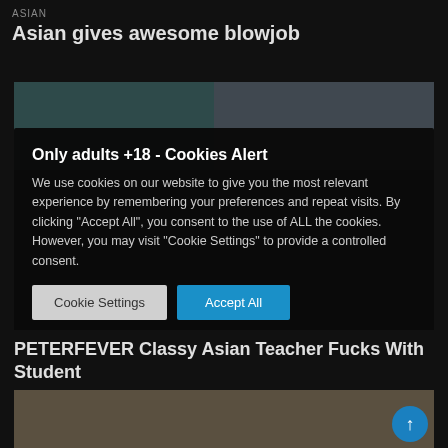ASIAN
Asian gives awesome blowjob
[Figure (photo): Thumbnail image split into two panels with dark teal and grey-blue tones]
Only adults +18 - Cookies Alert
We use cookies on our website to give you the most relevant experience by remembering your preferences and repeat visits. By clicking "Accept All", you consent to the use of ALL the cookies. However, you may visit "Cookie Settings" to provide a controlled consent.
Cookie Settings   Accept All
PETERFEVER Classy Asian Teacher Fucks With Student
[Figure (photo): Partial thumbnail of a person with dark hair, with a blue circular scroll-to-top button overlay in lower right]